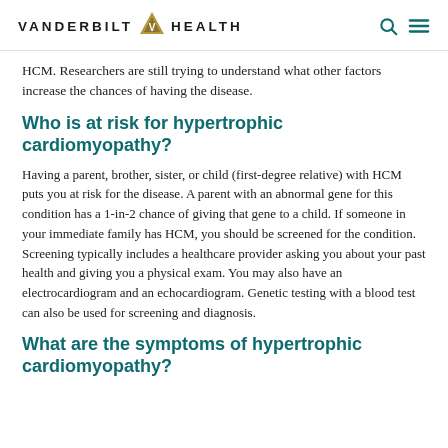VANDERBILT HEALTH
HCM. Researchers are still trying to understand what other factors increase the chances of having the disease.
Who is at risk for hypertrophic cardiomyopathy?
Having a parent, brother, sister, or child (first-degree relative) with HCM puts you at risk for the disease. A parent with an abnormal gene for this condition has a 1-in-2 chance of giving that gene to a child. If someone in your immediate family has HCM, you should be screened for the condition. Screening typically includes a healthcare provider asking you about your past health and giving you a physical exam. You may also have an electrocardiogram and an echocardiogram. Genetic testing with a blood test can also be used for screening and diagnosis.
What are the symptoms of hypertrophic cardiomyopathy?